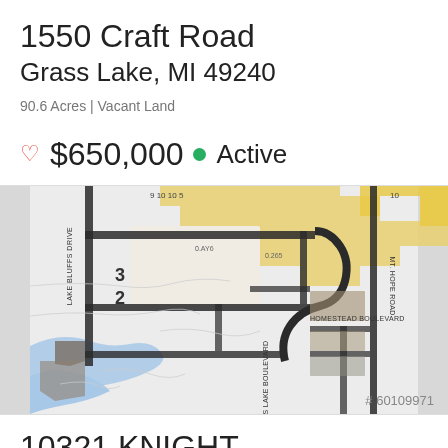1550 Craft Road
Grass Lake, MI 49240
90.6 Acres | Vacant Land
♡ $650,000 ● Active
[Figure (map): Plat/parcel map of Grass Lake area showing parcels numbered 2 and 3, roads including Lake Bluffs Drive, Homestead Boulevard, Grass Lake Boulevard, and Mt. Hope Road. Yellow highlighted areas indicate specific parcels. Blue area at bottom represents water.]
# 60109971
10321 KNIGHT
Grass Lake, MI 49240